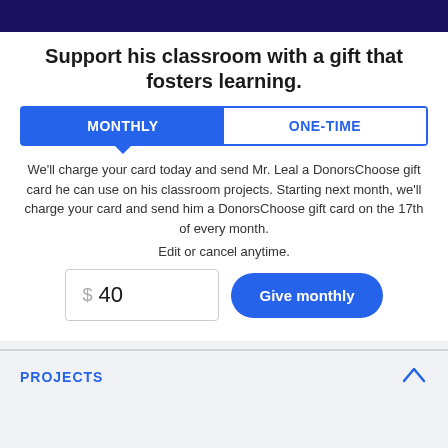Support his classroom with a gift that fosters learning.
MONTHLY | ONE-TIME
We'll charge your card today and send Mr. Leal a DonorsChoose gift card he can use on his classroom projects. Starting next month, we'll charge your card and send him a DonorsChoose gift card on the 17th of every month.
Edit or cancel anytime.
$ 40   Give monthly
PROJECTS